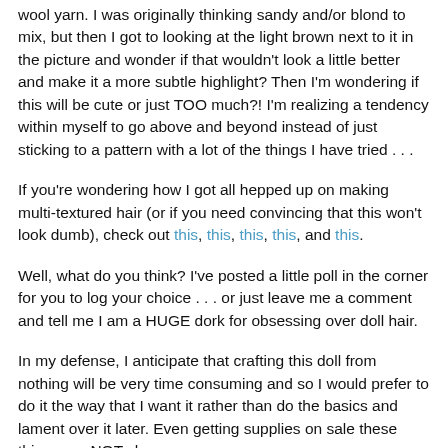wool yarn. I was originally thinking sandy and/or blond to mix, but then I got to looking at the light brown next to it in the picture and wonder if that wouldn't look a little better and make it a more subtle highlight? Then I'm wondering if this will be cute or just TOO much?! I'm realizing a tendency within myself to go above and beyond instead of just sticking to a pattern with a lot of the things I have tried . . .
If you're wondering how I got all hepped up on making multi-textured hair (or if you need convincing that this won't look dumb), check out this, this, this, this, and this.
Well, what do you think? I've posted a little poll in the corner for you to log your choice . . . or just leave me a comment and tell me I am a HUGE dork for obsessing over doll hair.
In my defense, I anticipate that crafting this doll from nothing will be very time consuming and so I would prefer to do it the way that I want it rather than do the basics and lament over it later. Even getting supplies on sale these things are NOT cheap.